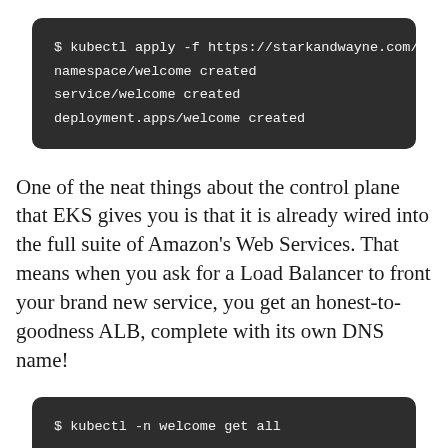[Figure (screenshot): Dark terminal/code block showing kubectl apply command output: '$ kubectl apply -f https://starkandwayne.com/depl...', 'namespace/welcome created', 'service/welcome created', 'deployment.apps/welcome created']
One of the neat things about the control plane that EKS gives you is that it is already wired into the full suite of Amazon's Web Services. That means when you ask for a Load Balancer to front your brand new service, you get an honest-to-goodness ALB, complete with its own DNS name!
[Figure (screenshot): Dark terminal/code block showing kubectl command: '$ kubectl -n welcome get all' with table header 'NAME    READY    STATUS']